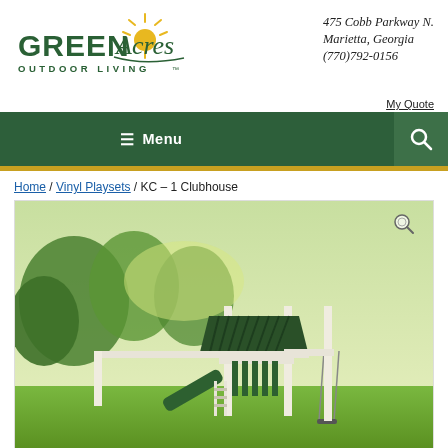[Figure (logo): Green Acres Outdoor Living logo with sun and cursive lettering]
475 Cobb Parkway N.
Marietta, Georgia
(770)792-0156
My Quote
≡ Menu
Home / Vinyl Playsets / KC – 1 Clubhouse
[Figure (photo): KC-1 Clubhouse vinyl playset with green roof, slide, and swings in a park setting with trees]